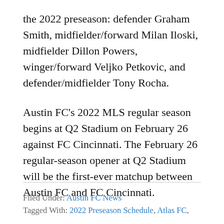the 2022 preseason: defender Graham Smith, midfielder/forward Milan Iloski, midfielder Dillon Powers, winger/forward Veljko Petkovic, and defender/midfielder Tony Rocha.
Austin FC's 2022 MLS regular season begins at Q2 Stadium on February 26 against FC Cincinnati. The February 26 regular-season opener at Q2 Stadium will be the first-ever matchup between Austin FC and FC Cincinnati.
Filed Under: Austin FC News
Tagged With: 2022 Preseason Schedule, Atlas FC,